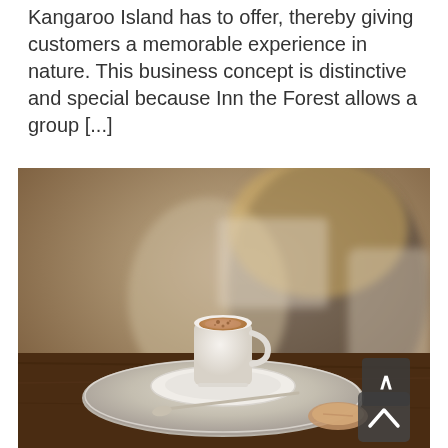Kangaroo Island has to offer, thereby giving customers a memorable experience in nature. This business concept is distinctive and special because Inn the Forest allows a group [...]
[Figure (photo): A cappuccino or latte coffee in a white ceramic cup on a white saucer, placed on a round silver metal tray on a dark wooden table. In the background, a blurred woman with long blonde hair holding or reading something, wearing a dark top and light jacket. A spoon and a small pastry or cookie are also visible on the tray. A dark scroll-to-top button with an upward arrow chevron is overlaid in the lower right corner of the image.]